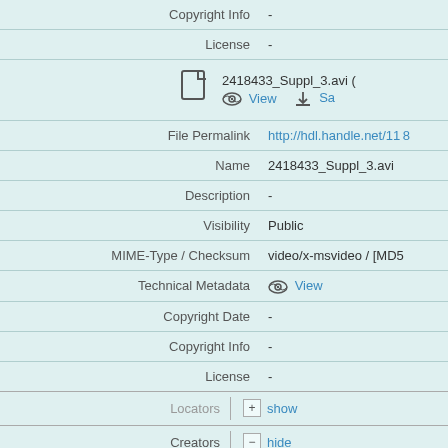| Field | Value |
| --- | --- |
| Copyright Info | - |
| License | - |
| [File: 2418433_Suppl_3.avi] | View  Sa... |
| File Permalink | http://hdl.handle.net/118... |
| Name | 2418433_Suppl_3.avi |
| Description | - |
| Visibility | Public |
| MIME-Type / Checksum | video/x-msvideo / [MD5... |
| Technical Metadata | View |
| Copyright Date | - |
| Copyright Info | - |
| License | - |
Locators  show
Creators  hide
Creators  Butkevich, A.1, Author  Belov, V. N.1, Author  Kolmakov, K., Author